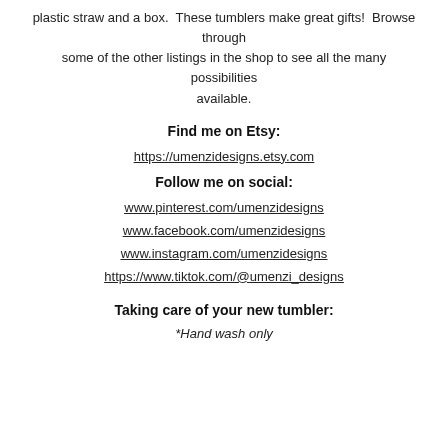plastic straw and a box.  These tumblers make great gifts!  Browse through some of the other listings in the shop to see all the many possibilities available.
Find me on Etsy:
https://umenzidesigns.etsy.com
Follow me on social:
www.pinterest.com/umenzidesigns
www.facebook.com/umenzidesigns
www.instagram.com/umenzidesigns
https://www.tiktok.com/@umenzi_designs
Taking care of your new tumbler:
*Hand wash only